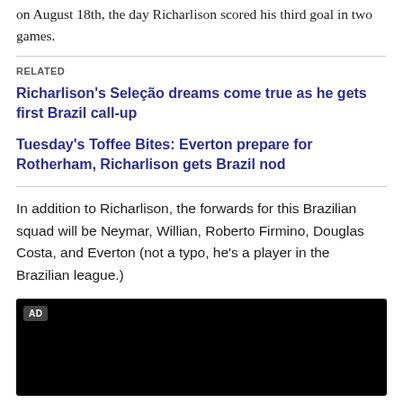on August 18th, the day Richarlison scored his third goal in two games.
RELATED
Richarlison's Seleção dreams come true as he gets first Brazil call-up
Tuesday's Toffee Bites: Everton prepare for Rotherham, Richarlison gets Brazil nod
In addition to Richarlison, the forwards for this Brazilian squad will be Neymar, Willian, Roberto Firmino, Douglas Costa, and Everton (not a typo, he's a player in the Brazilian league.)
[Figure (other): Black video/ad block with AD label in top-left corner]